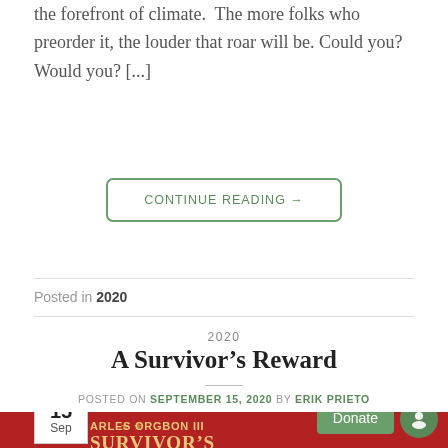the forefront of climate.  The more folks who preorder it, the louder that roar will be. Could you? Would you? [...]
CONTINUE READING →
Posted in 2020
2020
A Survivor's Reward
POSTED ON SEPTEMBER 15, 2020 BY ERIK PRIETO
[Figure (photo): Book cover image for 'Survivor's Reward' by Charles Orgbon III on a red background, with a date badge showing '15 Sep' in the bottom-left corner and a green Donate button in the bottom-right.]